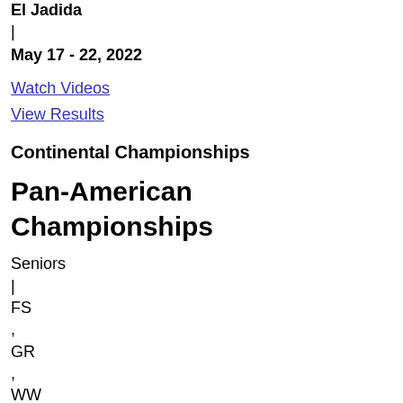Morocco
El Jadida
|
May 17 - 22, 2022
Watch Videos
View Results
Continental Championships
Pan-American Championships
Seniors
|
FS
,
GR
,
WW
Mexico •
Acapulco
|
May 05 - 08, 2022
Watch Videos